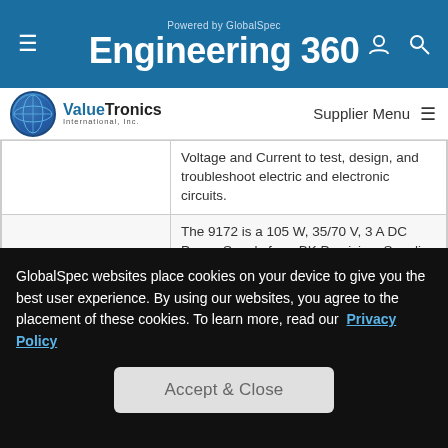Powered by GlobalSpec — Engineering 360
[Figure (logo): ValueTronics International, Inc. logo with globe icon]
Supplier Menu
| Product | Description |
| --- | --- |
|  | Voltage and Current to test, design, and troubleshoot electric and electronic circuits. |
| DC Power Supply -- 9172 | The 9172 is a 105 W, 35/70 V, 3 A DC Power Supply from BK Precision. Supplies DC Voltage and Current to test, design, and |
GlobalSpec websites place cookies on your device to give you the best user experience. By using our websites, you agree to the placement of these cookies. To learn more, read our Privacy Policy
Accept & Close